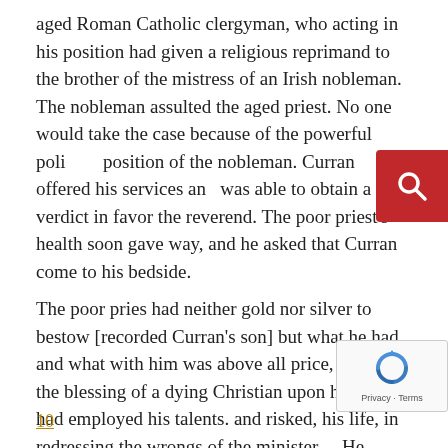aged Roman Catholic clergyman, who acting in his position had given a religious reprimand to the brother of the mistress of an Irish nobleman. The nobleman assulted the aged priest. No one would take the case because of the powerful political position of the nobleman. Curran offered his services and was able to obtain a verdict in favor the reverend. The poor priest's health soon gave way, and he asked that Curran come to his bedside.
The poor pries had neither gold nor silver to bestow [recorded Curran's son] but what he had, and what with him was above all price, he gave the blessing of a dying Christian upon him who had employed his talents. and risked, his life, in redressing the wrongs of the minister... He caused himself to be raised for the last time from his pillow, and, placing his hands on the head of his young advocate, pronounced him the formal benediction of the Roman Catholic Ch
10